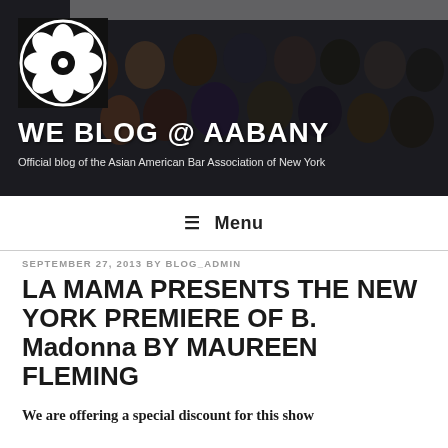[Figure (photo): Group photo of formally dressed Asian American professionals at an event, with banner backdrop. AABANY blog header image with flower logo and blog title overlay.]
WE BLOG @ AABANY
Official blog of the Asian American Bar Association of New York
≡ Menu
SEPTEMBER 27, 2013 BY BLOG_ADMIN
LA MAMA PRESENTS THE NEW YORK PREMIERE OF B. Madonna BY MAUREEN FLEMING
We are offering a special discount for this show